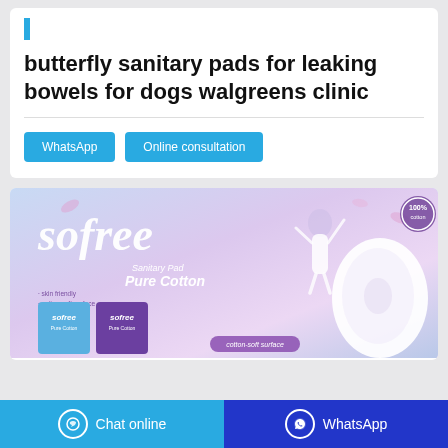butterfly sanitary pads for leaking bowels for dogs walgreens clinic
[Figure (screenshot): Two buttons: WhatsApp and Online consultation, both in blue]
[Figure (photo): Sofree Sanitary Pad Pure Cotton advertisement image showing a woman jumping, product packaging, and a sanitary pad with soft cotton features listed]
Chat online   WhatsApp